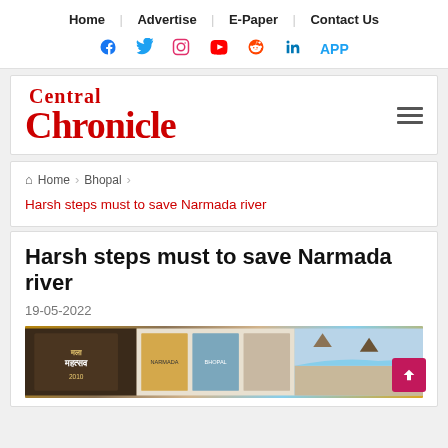Home | Advertise | E-Paper | Contact Us
[Figure (logo): Social media icons: Facebook, Twitter, Instagram, YouTube, Reddit, LinkedIn, APP]
[Figure (logo): Central Chronicle newspaper logo in red serif font with hamburger menu icon]
Home > Bhopal > Harsh steps must to save Narmada river
Harsh steps must to save Narmada river
19-05-2022
[Figure (photo): Newspaper article image showing books and outdoor scenes related to Narmada river]